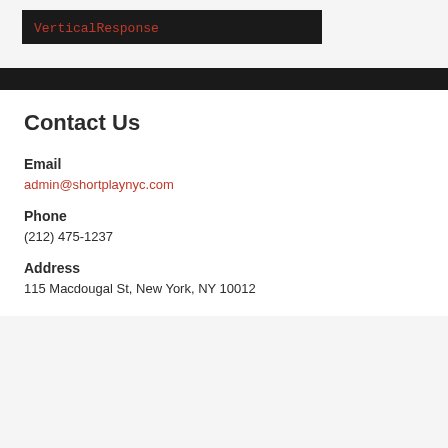[Figure (logo): VerticalResponse logo text in red on black background bar]
Contact Us
Email
admin@shortplaynyc.com
Phone
(212) 475-1237
Address
115 Macdougal St, New York, NY 10012